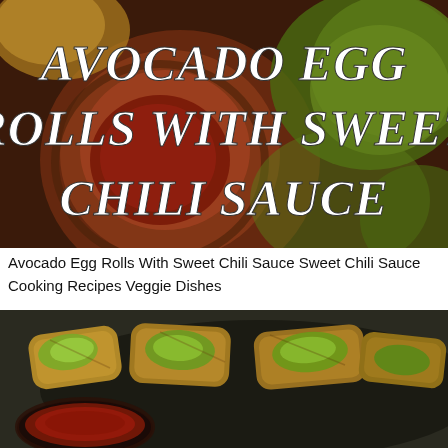[Figure (photo): Photo of avocado egg rolls with sweet chili sauce, with large white bold text overlay reading 'AVOCADO EGG ROLLS WITH SWEET CHILI SAUCE' on a dark background showing the food]
Avocado Egg Rolls With Sweet Chili Sauce Sweet Chili Sauce Cooking Recipes Veggie Dishes
[Figure (photo): Close-up photo of golden fried avocado egg rolls cut open showing green avocado filling, arranged on a dark round plate with a small bowl of sweet chili dipping sauce]